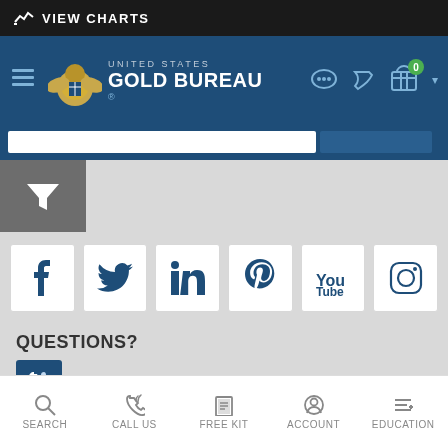VIEW CHARTS
[Figure (logo): United States Gold Bureau logo with eagle emblem]
[Figure (other): Social media icons row: Facebook, Twitter, LinkedIn, Pinterest, YouTube, Instagram]
QUESTIONS?
Free Consultation: (800) 775-3504
Quick Contact Form
SEARCH | CALL US | FREE KIT | ACCOUNT | EDUCATION